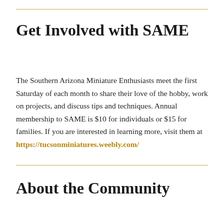Get Involved with SAME
The Southern Arizona Miniature Enthusiasts meet the first Saturday of each month to share their love of the hobby, work on projects, and discuss tips and techniques. Annual membership to SAME is $10 for individuals or $15 for families. If you are interested in learning more, visit them at https://tucsonminiatures.weebly.com/
About the Community